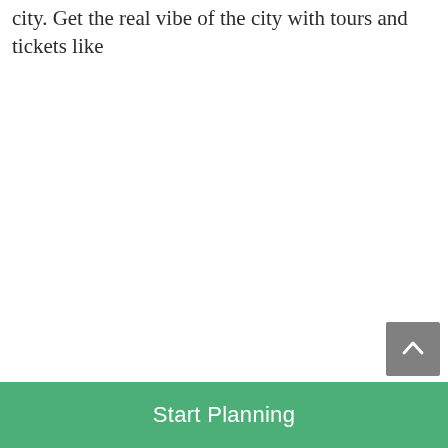city. Get the real vibe of the city with tours and tickets like
Start Planning